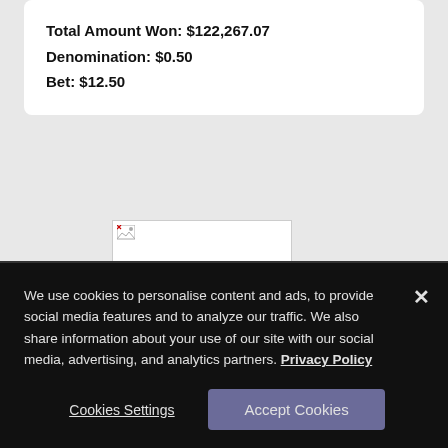Total Amount Won: $122,267.07
Denomination: $0.50
Bet: $12.50
[Figure (photo): Broken/missing image placeholder with small broken image icon in top-left corner]
ARCHIVES
We use cookies to personalise content and ads, to provide social media features and to analyze our traffic. We also share information about your use of our site with our social media, advertising, and analytics partners. Privacy Policy
Cookies Settings
Accept Cookies